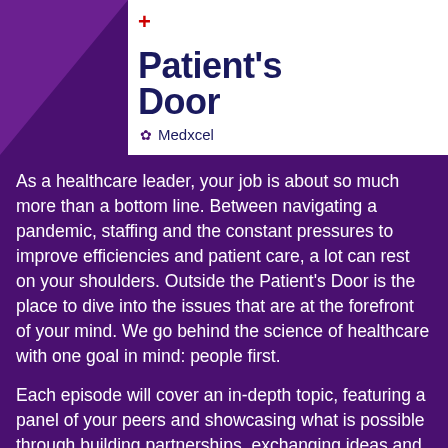[Figure (logo): Outside the Patient's Door podcast logo with Medxcel branding. Dark navy bold text on white background with purple triangular accent on left. Red cross symbol above 'Patient's'.]
As a healthcare leader, your job is about so much more than a bottom line. Between navigating a pandemic, staffing and the constant pressures to improve efficiencies and patient care, a lot can rest on your shoulders. Outside the Patient's Door is the place to dive into the issues that are at the forefront of your mind. We go behind the science of healthcare with one goal in mind: people first.
Each episode will cover an in-depth topic, featuring a panel of your peers and showcasing what is possible through building partnerships, exchanging ideas and gaining a fresh perspective. Join us as we examine innovative ways to confront both age-old obstacles and brand new policies. Outside the Patient's Door is where